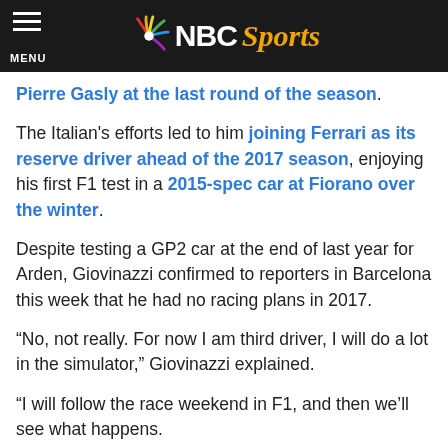NBC Sports
Pierre Gasly at the last round of the season.
The Italian's efforts led to him joining Ferrari as its reserve driver ahead of the 2017 season, enjoying his first F1 test in a 2015-spec car at Fiorano over the winter.
Despite testing a GP2 car at the end of last year for Arden, Giovinazzi confirmed to reporters in Barcelona this week that he had no racing plans in 2017.
“No, not really. For now I am third driver, I will do a lot in the simulator,” Giovinazzi explained.
“I will follow the race weekend in F1, and then we’ll see what happens.
“It will be more tough than all the years I did in my career, to be in the paddock will be quite different, less…